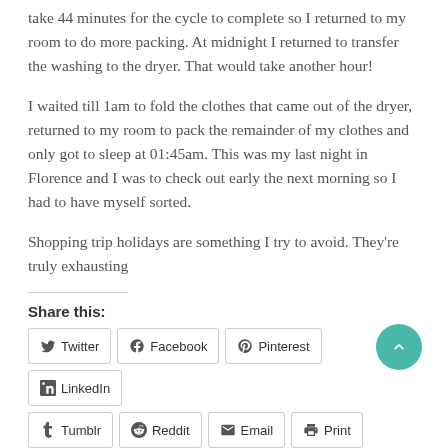take 44 minutes for the cycle to complete so I returned to my room to do more packing. At midnight I returned to transfer the washing to the dryer. That would take another hour!
I waited till 1am to fold the clothes that came out of the dryer, returned to my room to pack the remainder of my clothes and only got to sleep at 01:45am. This was my last night in Florence and I was to check out early the next morning so I had to have myself sorted.
Shopping trip holidays are something I try to avoid. They're truly exhausting
Share this:
Twitter | Facebook | Pinterest | LinkedIn | Tumblr | Reddit | Email | Print